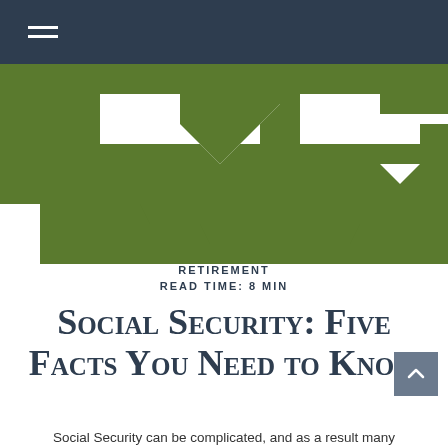Navigation bar with hamburger menu
[Figure (photo): Close-up photo of abstract green paper or card shapes on a white background, partially cropped, showing jagged and curved green paper forms.]
RETIREMENT
READ TIME: 8 MIN
Social Security: Five Facts You Need to Know
Social Security can be complicated, and as a result many